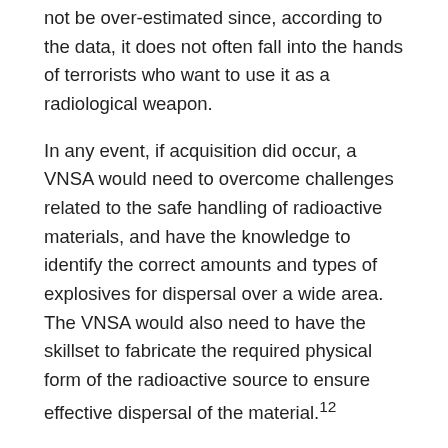not be over-estimated since, according to the data, it does not often fall into the hands of terrorists who want to use it as a radiological weapon.
In any event, if acquisition did occur, a VNSA would need to overcome challenges related to the safe handling of radioactive materials, and have the knowledge to identify the correct amounts and types of explosives for dispersal over a wide area. The VNSA would also need to have the skillset to fabricate the required physical form of the radioactive source to ensure effective dispersal of the material.12
Fortunately, powerful radionuclides are fairly easy